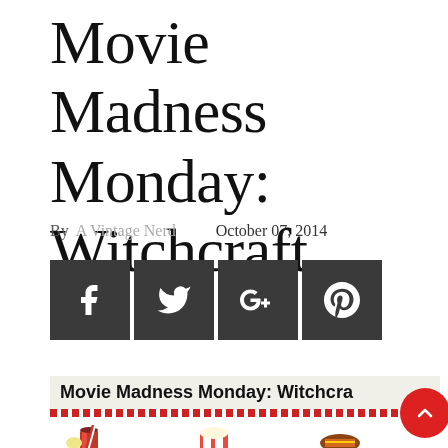Movie Madness Monday: Witchcraft
By A Vintage Nerd   October 07, 2014
[Figure (other): Social sharing buttons: Facebook (f), Twitter (bird), Google+ (G+), Pinterest (p) — dark grey square icons]
[Figure (screenshot): Preview image banner reading 'Movie Madness Monday: Witchcra' with red dotted border below and cartoon food icons (drink with straw, popcorn, hot dog), plus a red circular scroll-to-top button with upward chevron]